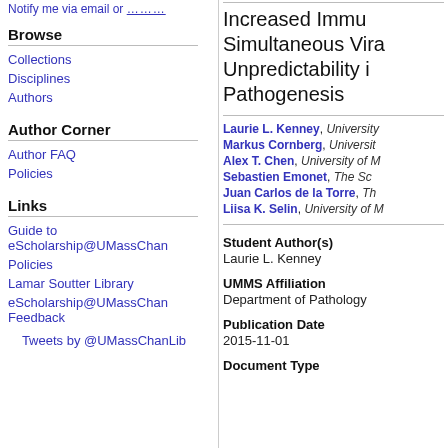Notify me via email or ……….
Browse
Collections
Disciplines
Authors
Author Corner
Author FAQ
Policies
Links
Guide to eScholarship@UMassChan
Policies
Lamar Soutter Library
eScholarship@UMassChan Feedback
Tweets by @UMassChanLib
Increased Immu Simultaneous Vira Unpredictability i Pathogenesis
Laurie L. Kenney, University
Markus Cornberg, Universit
Alex T. Chen, University of M
Sebastien Emonet, The Sc
Juan Carlos de la Torre, Th
Liisa K. Selin, University of M
Student Author(s)
Laurie L. Kenney
UMMS Affiliation
Department of Pathology
Publication Date
2015-11-01
Document Type